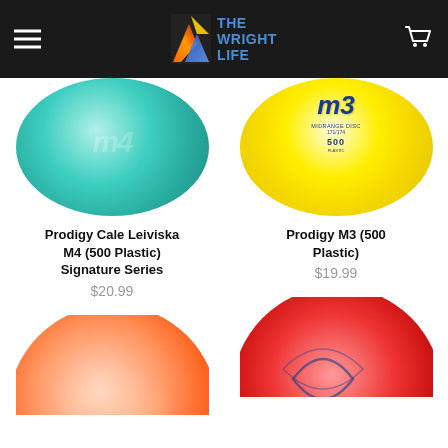The Wright Life
[Figure (photo): Teal/aqua colored Prodigy M4 disc golf disc]
Prodigy Cale Leiviska M4 (500 Plastic) Signature Series
$20.99
[Figure (photo): Yellow Prodigy M3 disc golf disc with blue M3 logo]
Prodigy M3 (500 Plastic)
$19.99
[Figure (photo): Orange swirled disc golf disc]
[Figure (photo): Red/marbled disc golf disc with blue stamp]